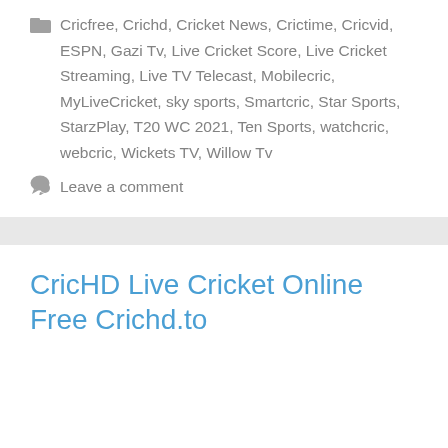Cricfree, Crichd, Cricket News, Crictime, Cricvid, ESPN, Gazi Tv, Live Cricket Score, Live Cricket Streaming, Live TV Telecast, Mobilecric, MyLiveCricket, sky sports, Smartcric, Star Sports, StarzPlay, T20 WC 2021, Ten Sports, watchcric, webcric, Wickets TV, Willow Tv
Leave a comment
CricHD Live Cricket Online Free Crichd.to